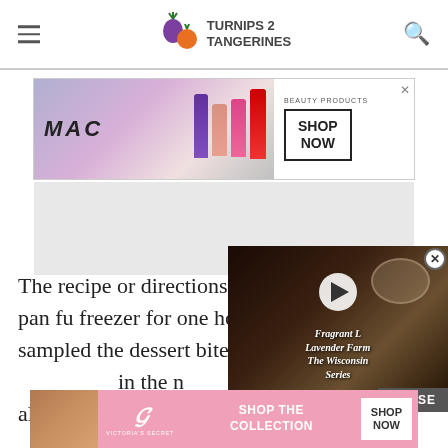TURNIPS 2 TANGERINES
[Figure (screenshot): MAC cosmetics advertisement banner with lipsticks and SHOP NOW button]
[Figure (screenshot): Gray ad placeholder block]
The recipe or directions of placing the muffin pan full freezer for one hour before serving. We sampled the dessert bites after an hour and the in the n apa all pr the
[Figure (screenshot): Video overlay: Fragrant Lavender Farm The Wisconsin Series with play button]
[Figure (screenshot): Victoria's Secret advertisement banner with SHOP THE COLLECTION and SHOP NOW button]